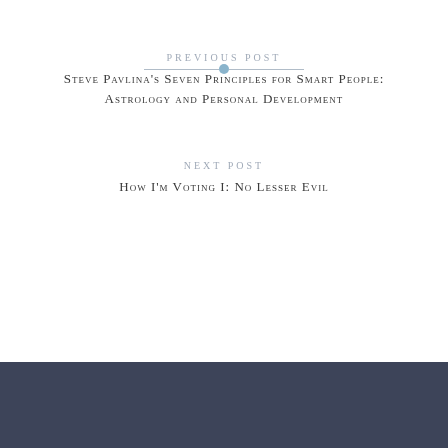PREVIOUS POST
Steve Pavlina's Seven Principles for Smart People: Astrology and Personal Development
NEXT POST
How I'm Voting I: No Lesser Evil
One Comment
ADD YOURS